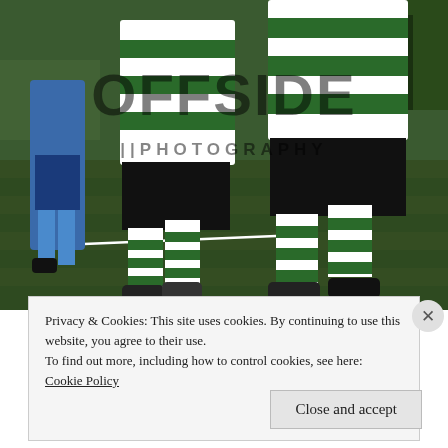[Figure (photo): Football players in green and white hooped jerseys and black shorts playing on a grass pitch. A player in blue kit is visible on the left. The image has a watermark reading 'OFFSIDE PHOTOGRAPHY'.]
Privacy & Cookies: This site uses cookies. By continuing to use this website, you agree to their use.
To find out more, including how to control cookies, see here:
Cookie Policy
Close and accept
in less than a week